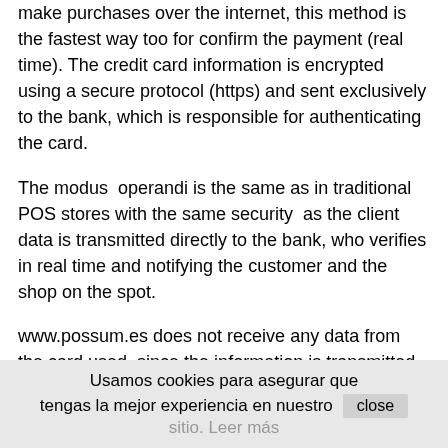make purchases over the internet, this method is the fastest way too for confirm the payment (real time). The credit card information is encrypted using a secure protocol (https) and sent exclusively to the bank, which is responsible for authenticating the card.
The modus  operandi is the same as in traditional POS stores with the same security  as the client data is transmitted directly to the bank, who verifies in real time and notifying the customer and the shop on the spot.
www.possum.es does not receive any data from the card used, since the information is transmitted to the bank who owns the payment gateway which in our case is Banco Sabadell.
3) Bank transfer: if you decide to pay by this method, after place the order it will appear on your screen the bank´s name and account number where you must do
Usamos cookies para asegurar que tengas la mejor experiencia en nuestro sitio. Leer más